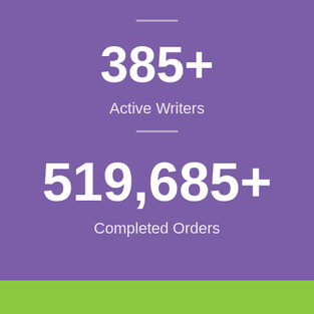385+
Active Writers
519,685+
Completed Orders